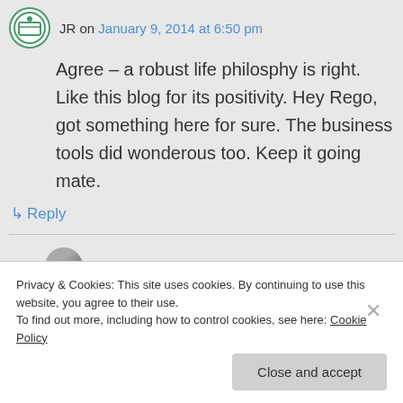JR on January 9, 2014 at 6:50 pm
Agree – a robust life philosphy is right. Like this blog for its positivity. Hey Rego, got something here for sure. The business tools did wonderous too. Keep it going mate.
↳ Reply
Rego on January 9, 2014 at 11:35 pm
Privacy & Cookies: This site uses cookies. By continuing to use this website, you agree to their use.
To find out more, including how to control cookies, see here: Cookie Policy
Close and accept